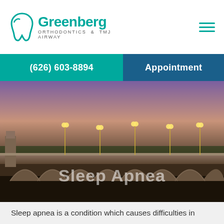[Figure (logo): Greenberg Orthodontics & TMJ Airway logo with tooth icon]
(626) 603-8894
Appointment
[Figure (photo): Nighttime photo of a lit bridge with arches, purple sky, city lights — hero banner image for Sleep Apnea page]
Sleep Apnea
Greenberg Orthodontics & TMJ
Sleep apnea is a condition which causes difficulties in